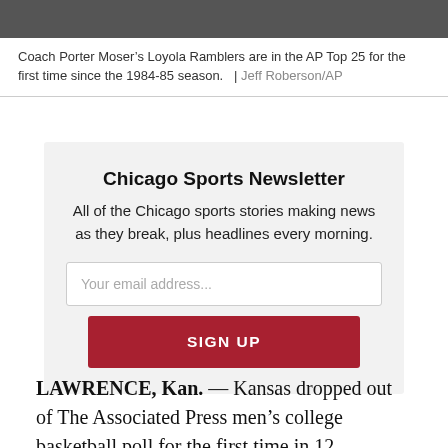[Figure (photo): Partial photo strip at top of page showing sports/basketball related image]
Coach Porter Moser’s Loyola Ramblers are in the AP Top 25 for the first time since the 1984-85 season.   |  Jeff Roberson/AP
Chicago Sports Newsletter
All of the Chicago sports stories making news as they break, plus headlines every morning.
Your email address...
SIGN UP
LAWRENCE, Kan. — Kansas dropped out of The Associated Press men’s college basketball poll for the first time in 12...